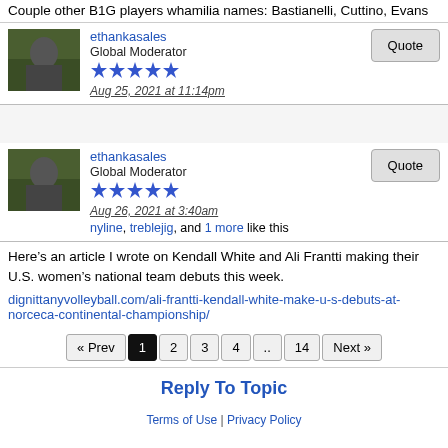Couple other B1G players whamilia names: Bastianelli, Cuttino, Evans
ethankasales
Global Moderator
Aug 25, 2021 at 11:14pm
ethankasales
Global Moderator
Aug 26, 2021 at 3:40am
nyline, treblejig, and 1 more like this
Here’s an article I wrote on Kendall White and Ali Frantti making their U.S. women’s national team debuts this week.
dignittanyvolleyball.com/ali-frantti-kendall-white-make-u-s-debuts-at-norceca-continental-championship/
« Prev 1 2 3 4 .. 14 Next »
Reply To Topic
Terms of Use | Privacy Policy